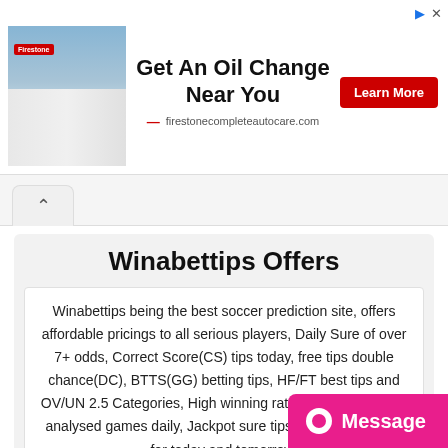[Figure (screenshot): Firestone Complete Auto Care advertisement banner with store photo, headline 'Get An Oil Change Near You', Learn More button, and firestonecompleteautocare.com URL]
Winabettips Offers
Winabettips being the best soccer prediction site, offers affordable pricings to all serious players, Daily Sure of over 7+ odds, Correct Score(CS) tips today, free tips double chance(DC), BTTS(GG) betting tips, HF/FT best tips and OV/UN 2.5 Categories, High winning rate tips, Over 20 well analysed games daily, Jackpot sure tips, accurate bet tips for today and tomorrow.
→ Win Statistics
Message